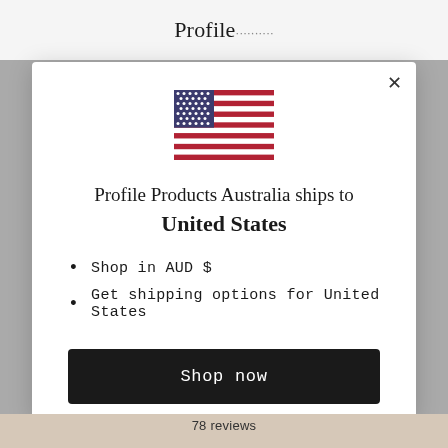Profile
[Figure (illustration): US flag emoji/icon showing stars and stripes]
Profile Products Australia ships to United States
Shop in AUD $
Get shipping options for United States
Shop now
Change shipping country
78 reviews